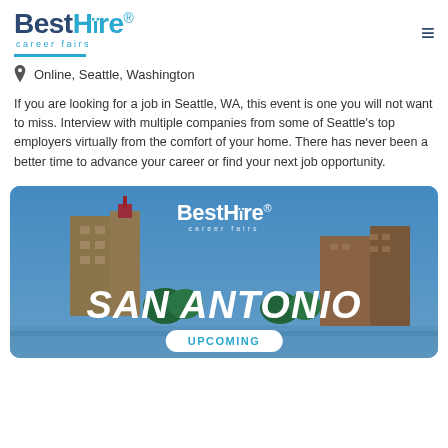BestHire career fairs
Online, Seattle, Washington
If you are looking for a job in Seattle, WA, this event is one you will not want to miss. Interview with multiple companies from some of Seattle's top employers virtually from the comfort of your home. There has never been a better time to advance your career or find your next job opportunity.
[Figure (photo): BestHire career fairs banner for San Antonio with city building background and UPCOMING badge]